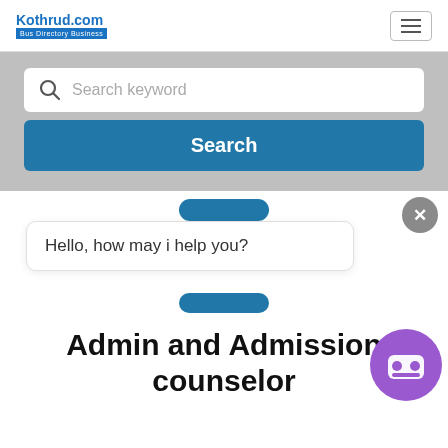[Figure (screenshot): Kothrud.com logo with text 'Kothrud.com' in blue and a blue banner beneath reading 'Bus Directory Business']
[Figure (screenshot): Hamburger menu icon (three horizontal lines) in a bordered box]
[Figure (screenshot): Search bar with magnifying glass icon and placeholder text 'Search keyword', followed by a blue 'Search' button, on a grey background]
[Figure (screenshot): Chat popup overlay showing 'Hello, how may i help you?' with a grey X close button and blue rounded bars above and below, plus a purple robot chat icon in the bottom right]
Admin and Admission counselor